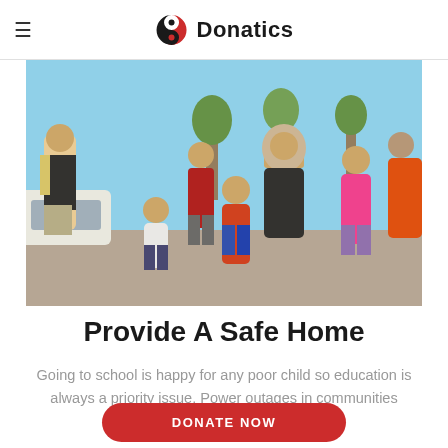≡  Donatics
[Figure (photo): Group of children and a woman in hijab standing together outdoors, appearing to be refugees or displaced people. Various ages from toddler to teen. Bright daylight setting.]
Provide A Safe Home
Going to school is happy for any poor child so education is always a priority issue. Power outages in communities across.
DONATE NOW